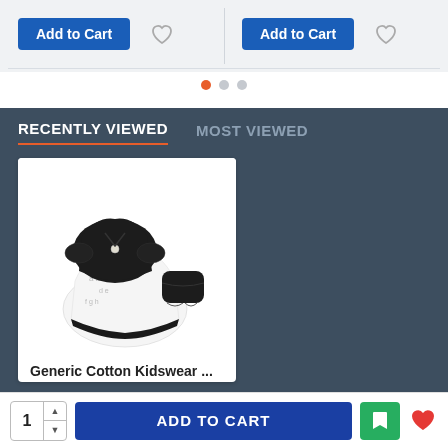[Figure (screenshot): Top strip showing two 'Add to Cart' buttons with heart/wishlist icons, separated by a vertical divider, on a light gray background]
[Figure (screenshot): Pagination dots: orange filled dot, two gray dots]
RECENTLY VIEWED
MOST VIEWED
[Figure (photo): Baby girl outfit set: black bolero cardigan with bow, white floral dress with black hem, and black bloomers]
Generic Cotton Kidswear ...
Rs.381.00 Rs.508.00
[Figure (screenshot): Bottom action bar with quantity selector showing '1', blue ADD TO CART button, green bookmark button, and red heart icon]